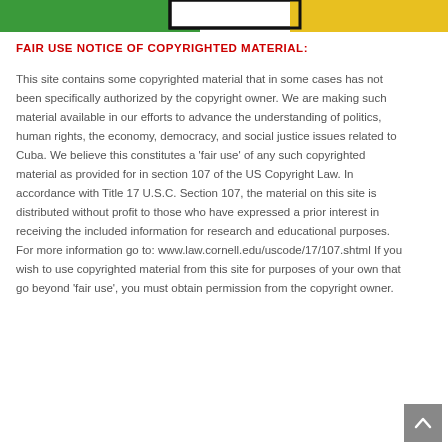[Figure (illustration): Banner graphic with green, black, and yellow/gold horizontal color blocks at the top of the page]
FAIR USE NOTICE OF COPYRIGHTED MATERIAL:
This site contains some copyrighted material that in some cases has not been specifically authorized by the copyright owner. We are making such material available in our efforts to advance the understanding of politics, human rights, the economy, democracy, and social justice issues related to Cuba. We believe this constitutes a 'fair use' of any such copyrighted material as provided for in section 107 of the US Copyright Law. In accordance with Title 17 U.S.C. Section 107, the material on this site is distributed without profit to those who have expressed a prior interest in receiving the included information for research and educational purposes. For more information go to: www.law.cornell.edu/uscode/17/107.shtml If you wish to use copyrighted material from this site for purposes of your own that go beyond 'fair use', you must obtain permission from the copyright owner.